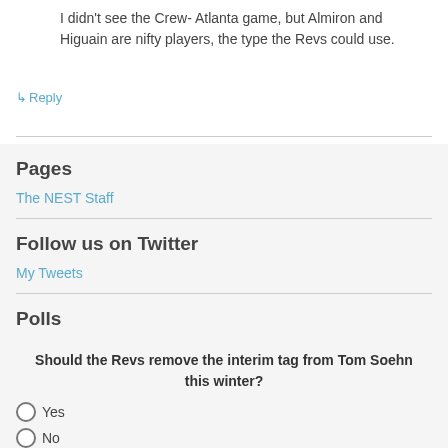I didn't see the Crew- Atlanta game, but Almiron and Higuain are nifty players, the type the Revs could use.
↳ Reply
Pages
The NEST Staff
Follow us on Twitter
My Tweets
Polls
Should the Revs remove the interim tag from Tom Soehn this winter?
Yes
No
Vote